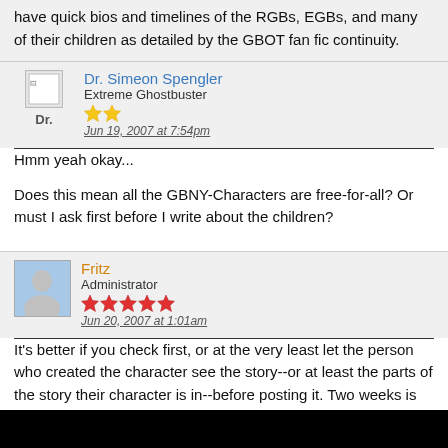have quick bios and timelines of the RGBs, EGBs, and many of their children as detailed by the GBOT fan fic continuity.
Dr. Simeon Spengler
Extreme Ghostbuster
Jun 19, 2007 at 7:54pm
Hmm yeah okay...

Does this mean all the GBNY-Characters are free-for-all? Or must I ask first before I write about the children?
Fritz
Administrator
Jun 20, 2007 at 1:01am
It's better if you check first, or at the very least let the person who created the character see the story--or at least the parts of the story their character is in--before posting it. Two weeks is the interval I try to use to give someone time or accept or reject a story.

The kids are created by the fan writers, with the exception of Oscar